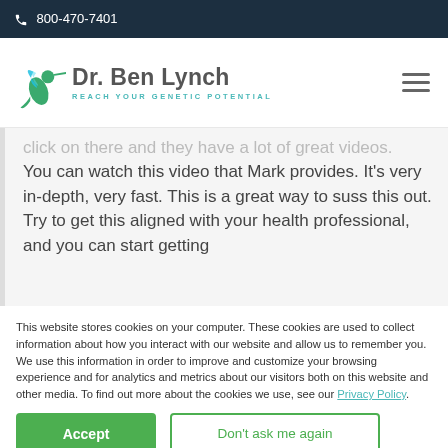800-470-7401
[Figure (logo): Dr. Ben Lynch logo with hummingbird. Text: Dr. Ben Lynch / REACH YOUR GENETIC POTENTIAL]
click on there and they have a lot of great videos. You can watch this video that Mark provides. It's very in-depth, very fast. This is a great way to suss this out. Try to get this aligned with your health professional, and you can start getting
This website stores cookies on your computer. These cookies are used to collect information about how you interact with our website and allow us to remember you. We use this information in order to improve and customize your browsing experience and for analytics and metrics about our visitors both on this website and other media. To find out more about the cookies we use, see our Privacy Policy.
Accept
Don't ask me again